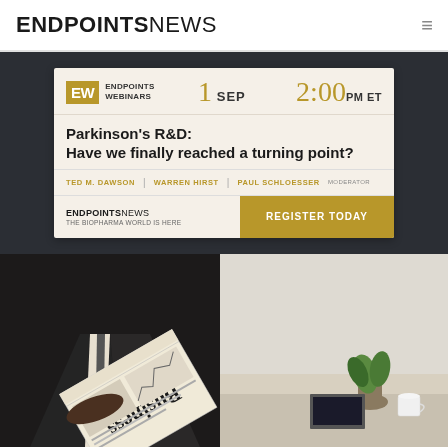ENDPOINTS NEWS
[Figure (infographic): Endpoints Webinars advertisement card for a webinar about Parkinson's R&D on 1 SEP at 2:00 PM ET. Speakers: TED M. DAWSON, WARREN HIRST, PAUL SCHLOESSER (MODERATOR). Register Today button.]
[Figure (infographic): PROTOCOLS - quick hits from the biopharma web. Image shows a person in a dark suit holding a Business newspaper, with a plant and cup visible in the background.]